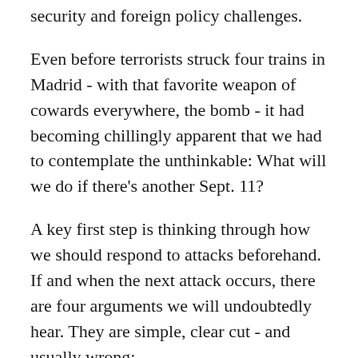security and foreign policy challenges.
Even before terrorists struck four trains in Madrid - with that favorite weapon of cowards everywhere, the bomb - it had becoming chillingly apparent that we had to contemplate the unthinkable: What will we do if there's another Sept. 11?
A key first step is thinking through how we should respond to attacks beforehand. If and when the next attack occurs, there are four arguments we will undoubtedly hear. They are simple, clear cut - and usually wrong:
Throw money at the problem. If another terrorist attack occurs, we'll hear shrill cries that it's the Bush administration's fault. The $40.4 billion already spent...